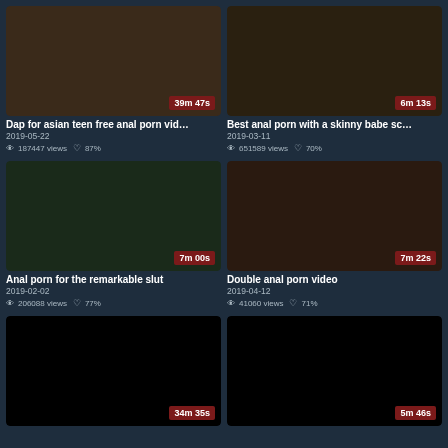[Figure (screenshot): Video thumbnail for 'Dap for asian teen free anal porn vid...' with duration 39m 47s]
Dap for asian teen free anal porn vid...
2019-05-22
187447 views  87%
[Figure (screenshot): Video thumbnail for 'Best anal porn with a skinny babe sc...' with duration 6m 13s]
Best anal porn with a skinny babe sc...
2019-03-11
651589 views  70%
[Figure (screenshot): Video thumbnail for 'Anal porn for the remarkable slut' with duration 7m 00s]
Anal porn for the remarkable slut
2019-02-02
206088 views  77%
[Figure (screenshot): Video thumbnail for 'Double anal porn video' with duration 7m 22s]
Double anal porn video
2019-04-12
41060 views  71%
[Figure (screenshot): Video thumbnail (dark/black) with duration 34m 35s]
[Figure (screenshot): Video thumbnail (dark/black) with duration 5m 46s]